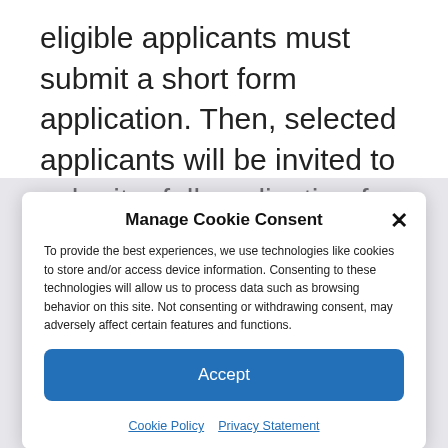eligible applicants must submit a short form application. Then, selected applicants will be invited to submit a full application for consideration in a competitive review process.
Manage Cookie Consent
To provide the best experiences, we use technologies like cookies to store and/or access device information. Consenting to these technologies will allow us to process data such as browsing behavior on this site. Not consenting or withdrawing consent, may adversely affect certain features and functions.
Accept
Cookie Policy  Privacy Statement